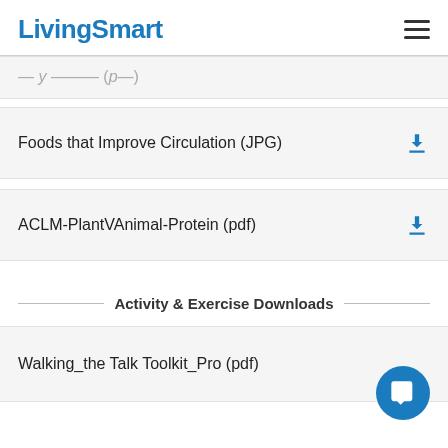LivingSmart
Foods that Improve Circulation (JPG)
ACLM-PlantVAnimal-Protein (pdf)
Activity & Exercise Downloads
Walking_the Talk Toolkit_Pro (pdf)